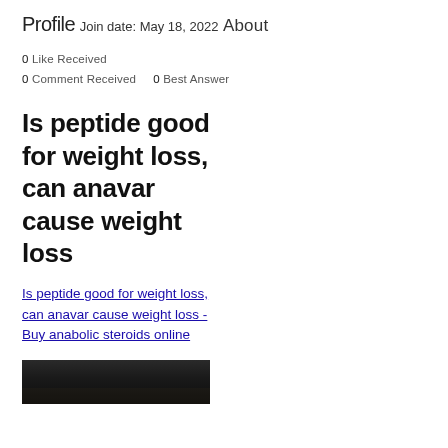Profile
Join date: May 18, 2022
About
0 Like Received
0 Comment Received    0 Best Answer
Is peptide good for weight loss, can anavar cause weight loss
Is peptide good for weight loss, can anavar cause weight loss - Buy anabolic steroids online
[Figure (photo): Dark blurred image, possibly a bottle or product in low lighting]